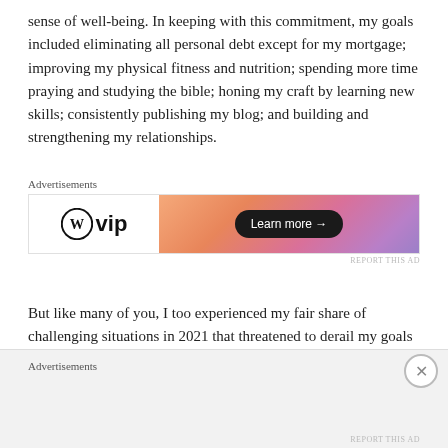sense of well-being. In keeping with this commitment, my goals included eliminating all personal debt except for my mortgage; improving my physical fitness and nutrition; spending more time praying and studying the bible; honing my craft by learning new skills; consistently publishing my blog; and building and strengthening my relationships.
[Figure (other): WordPress VIP advertisement banner with gradient orange-purple background and 'Learn more →' button]
But like many of you, I too experienced my fair share of challenging situations in 2021 that threatened to derail my goals and plans for myself. At times, the issues I faced brought tears and feelings of doubt and discouragement that I had to push through to stay on
Advertisements